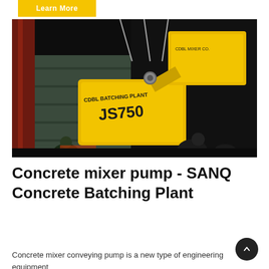Learn More
[Figure (photo): Yellow concrete mixer machine labeled JS750 and CDBL BATCHING PLANT being loaded into a shipping container at night by workers]
Concrete mixer pump - SANQ Concrete Batching Plant
Concrete mixer conveying pump is a new type of engineering equipment